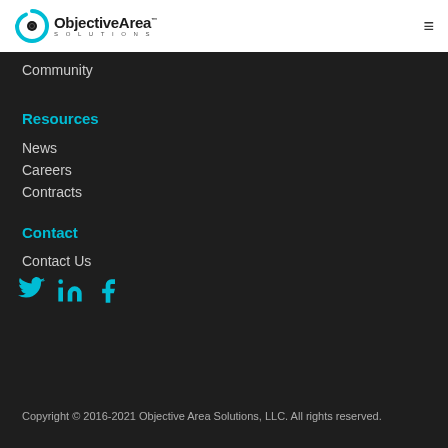[Figure (logo): Objective Area Solutions logo with circular icon and company name]
Community
Resources
News
Careers
Contracts
Contact
Contact Us
[Figure (illustration): Social media icons: Twitter, LinkedIn, Facebook in cyan/teal color]
Copyright © 2016-2021 Objective Area Solutions, LLC. All rights reserved.